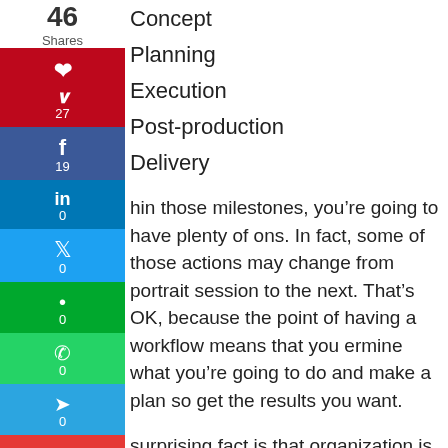[Figure (infographic): Social sharing sidebar with share count (46 shares), Pinterest (27), Facebook (19), LinkedIn (0), Twitter (0), Evernote (0), WhatsApp (0), Telegram (0), Heart/Love (0) buttons]
Concept
Planning
Execution
Post-production
Delivery
hin those milestones, you’re going to have plenty of ons. In fact, some of those actions may change from portrait session to the next. That’s OK, because the point of having a workflow means that you ermine what you’re going to do and make a plan so get the results you want.
surprising fact is that organization is the best nd of creative endeavors. If you want to create ething nice, it’s a good idea to know how to find